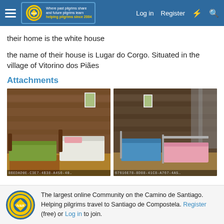Log in  Register
their home is the white house
the name of their house is Lugar do Corgo. Situated in the village of Vitorino dos Piães
Attachments
[Figure (photo): Interior photo of a rustic wooden-walled room with two single beds, one with a green cover and one with a white cover and pink pillow. File label partially visible at bottom.]
[Figure (photo): Interior photo of a wooden-walled room with two single beds, one with a blue cover and one with a pink cover. File label partially visible at bottom.]
The largest online Community on the Camino de Santiago. Helping pilgrims travel to Santiago de Compostela. Register (free) or Log in to join.